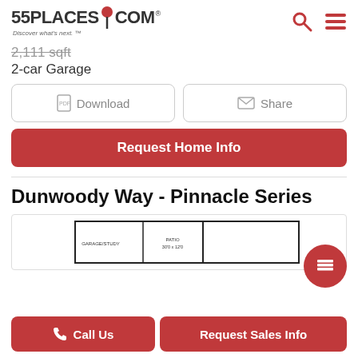55PLACES.COM - Discover what's next.
2,111 sqft
2-car Garage
Download
Share
Request Home Info
Dunwoody Way - Pinnacle Series
[Figure (schematic): Floor plan preview showing GARAGE/STUDY, PATIO 30'0 x 12'0, and other rooms]
Call Us
Request Sales Info